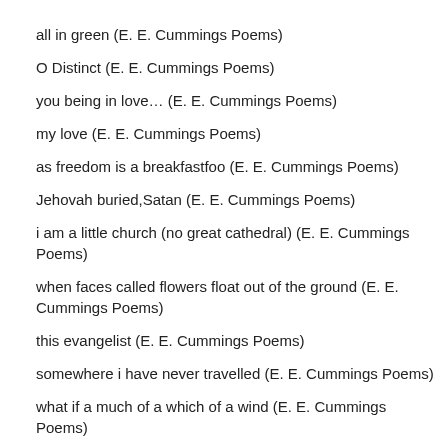all in green (E. E. Cummings Poems)
O Distinct (E. E. Cummings Poems)
you being in love… (E. E. Cummings Poems)
my love (E. E. Cummings Poems)
as freedom is a breakfastfoo (E. E. Cummings Poems)
Jehovah buried,Satan (E. E. Cummings Poems)
i am a little church (no great cathedral) (E. E. Cummings Poems)
when faces called flowers float out of the ground (E. E. Cummings Poems)
this evangelist (E. E. Cummings Poems)
somewhere i have never travelled (E. E. Cummings Poems)
what if a much of a which of a wind (E. E. Cummings Poems)